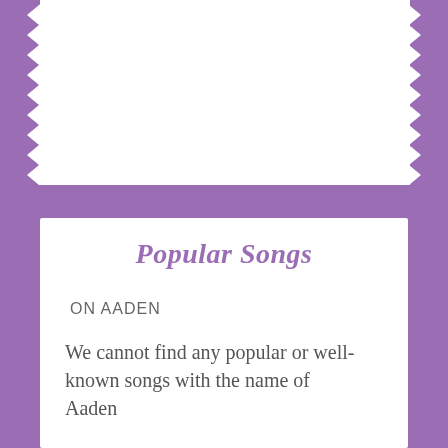Popular Songs
ON AADEN
We cannot find any popular or well-known songs with the name of Aaden